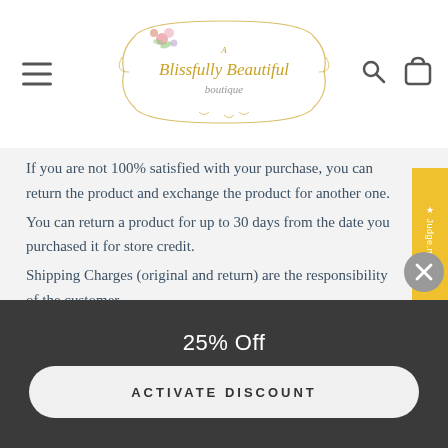[Figure (logo): A Blissfully Beautiful boutique logo with floral decorations and ornate frame in gold script]
If you are not 100% satisfied with your purchase, you can return the product and exchange the product for another one.
You can return a product for up to 30 days from the date you purchased it for store credit.
Shipping Charges (original and return) are the responsibility of the customer.
Just message us and we send you the prepaid shipping label.
25% Off
ACTIVATE DISCOUNT